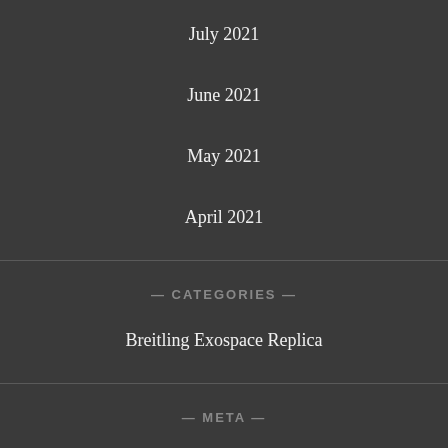July 2021
June 2021
May 2021
April 2021
— CATEGORIES —
Breitling Exospace Replica
— META —
Log in
Entries feed